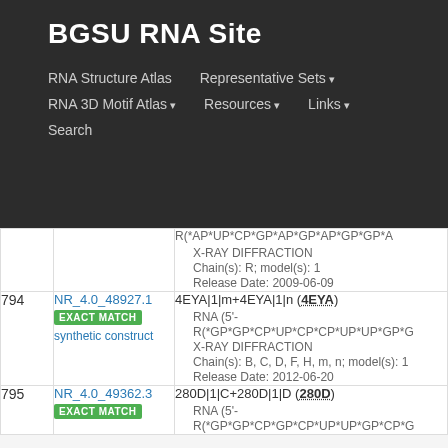BGSU RNA Site
RNA Structure Atlas | Representative Sets ▾ | RNA 3D Motif Atlas ▾ | Resources ▾ | Links ▾ | Search
| # | ID | Description |
| --- | --- | --- |
|  |  | R(*AP*UP*CP*GP*AP*GP*AP*GP*GP*A... • X-RAY DIFFRACTION • Chain(s): R; model(s): 1 • Release Date: 2009-06-09 |
| 794 | NR_4.0_48927.1 EXACT MATCH synthetic construct | 4EYA|1|m+4EYA|1|n (4EYA) • RNA (5'- R(*GP*GP*CP*UP*CP*CP*UP*UP*GP*G... • X-RAY DIFFRACTION • Chain(s): B, C, D, F, H, m, n; model(s): 1 • Release Date: 2012-06-20 |
| 795 | NR_4.0_49362.3 EXACT MATCH | 280D|1|C+280D|1|D (280D) • RNA (5'- R(*GP*GP*CP*GP*CP*UP*UP*GP*CP*G... |